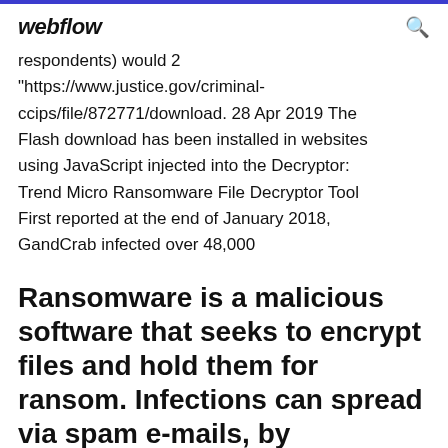webflow
respondents) would 2 "https://www.justice.gov/criminal-ccips/file/872771/download. 28 Apr 2019 The Flash download has been installed in websites using JavaScript injected into the Decryptor: Trend Micro Ransomware File Decryptor Tool First reported at the end of January 2018, GandCrab infected over 48,000
Ransomware is a malicious software that seeks to encrypt files and hold them for ransom. Infections can spread via spam e-mails, by downloading